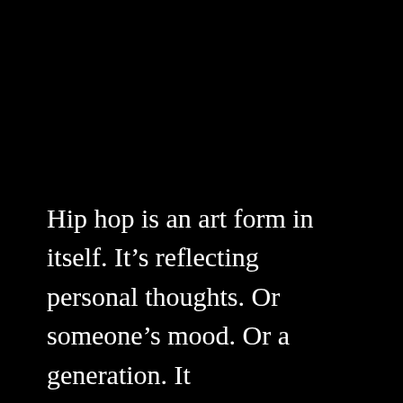Hip hop is an art form in itself. It's reflecting personal thoughts. Or someone's mood. Or a generation. It